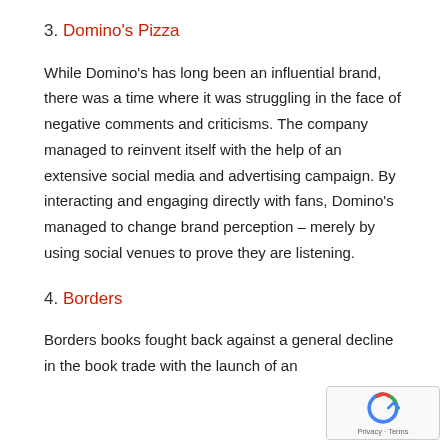3. Domino's Pizza
While Domino's has long been an influential brand, there was a time where it was struggling in the face of negative comments and criticisms. The company managed to reinvent itself with the help of an extensive social media and advertising campaign. By interacting and engaging directly with fans, Domino's managed to change brand perception – merely by using social venues to prove they are listening.
4. Borders
Borders books fought back against a general decline in the book trade with the launch of an